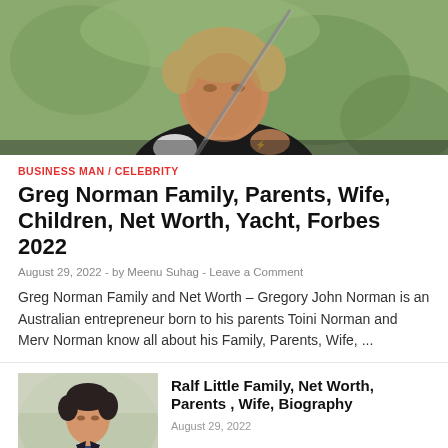[Figure (photo): A man in a black polo shirt swinging a golf club outdoors, blurred green background]
BUSINESS MAN / CELEBRITY
Greg Norman Family, Parents, Wife, Children, Net Worth, Yacht, Forbes 2022
August 29, 2022  -  by Meenu Suhag  -  Leave a Comment
Greg Norman Family and Net Worth – Gregory John Norman is an Australian entrepreneur born to his parents Toini Norman and Merv Norman know all about his Family, Parents, Wife, ...
[Figure (photo): A man in a dark suit with a tie, looking downward, against an outdoor background]
Ralf Little Family, Net Worth, Parents , Wife, Biography
August 29, 2022